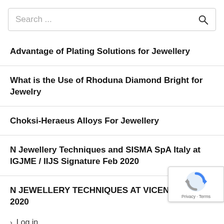[Figure (screenshot): Search bar with placeholder text 'Search ...' and a magnifying glass icon on the right]
Advantage of Plating Solutions for Jewellery
What is the Use of Rhoduna Diamond Bright for Jewelry
Choksi-Heraeus Alloys For Jewellery
N Jewellery Techniques and SISMA SpA Italy at IGJME / IIJS Signature Feb 2020
N JEWELLERY TECHNIQUES AT VICENZA ORO 2020
> Log in
[Figure (logo): Google reCAPTCHA badge with spinning arrows logo and Privacy · Terms links]